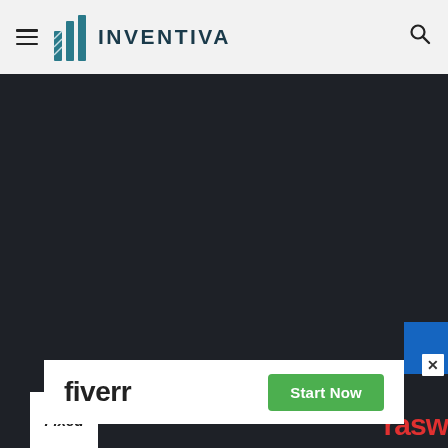INVENTIVA
[Figure (screenshot): Dark background content area (black/dark navy), appears to be the body of the Inventiva website with no visible content in this region.]
[Figure (photo): Fiverr advertisement banner with 'fiverr' logo in bold black text on white background and a green 'Start Now' button.]
[Figure (screenshot): Bottom strip showing partial 'Fixed' badge in white box and partial 'rasw' text in red on the right side.]